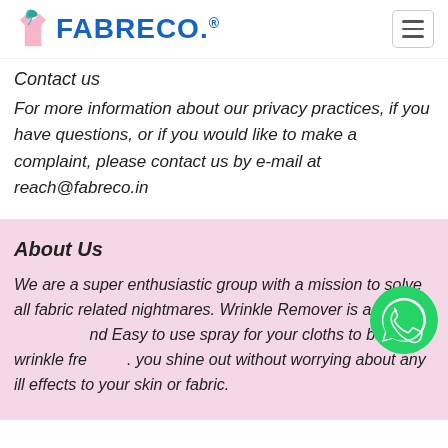FABRECO.®
Contact us
For more information about our privacy practices, if you have questions, or if you would like to make a complaint, please contact us by e-mail at reach@fabreco.in
About Us
We are a super enthusiastic group with a mission to solve all fabric related nightmares. Wrinkle Remover is an and Easy to use spray for your cloths to be wrinkle fre. you shine out without worrying about any ill effects to your skin or fabric.
[Figure (logo): WhatsApp green phone icon overlaid on the About Us text]